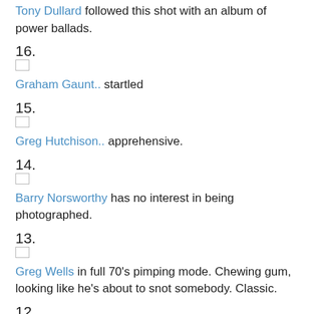Tony Dullard followed this shot with an album of power ballads.
16.
Graham Gaunt.. startled
15.
Greg Hutchison.. apprehensive.
14.
Barry Norsworthy has no interest in being photographed.
13.
Greg Wells in full 70's pimping mode. Chewing gum, looking like he's about to snot somebody. Classic.
12.
Brad Thorn...